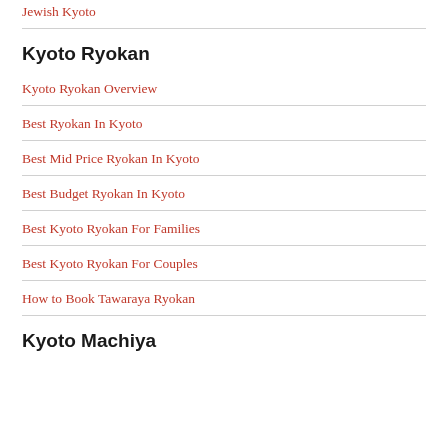Jewish Kyoto
Kyoto Ryokan
Kyoto Ryokan Overview
Best Ryokan In Kyoto
Best Mid Price Ryokan In Kyoto
Best Budget Ryokan In Kyoto
Best Kyoto Ryokan For Families
Best Kyoto Ryokan For Couples
How to Book Tawaraya Ryokan
Kyoto Machiya